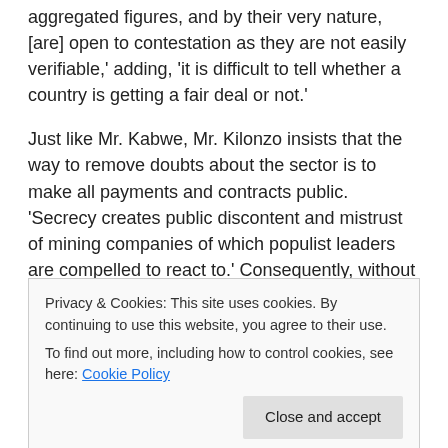aggregated figures, and by their very nature, [are] open to contestation as they are not easily verifiable,' adding, 'it is difficult to tell whether a country is getting a fair deal or not.'
Just like Mr. Kabwe, Mr. Kilonzo insists that the way to remove doubts about the sector is to make all payments and contracts public. 'Secrecy creates public discontent and mistrust of mining companies of which populist leaders are compelled to react to.' Consequently, without an open and honest dialogue, 'that discontent is bound to
Privacy & Cookies: This site uses cookies. By continuing to use this website, you agree to their use.
To find out more, including how to control cookies, see here: Cookie Policy
to say, 'We want to be able to engage in a dialogue that